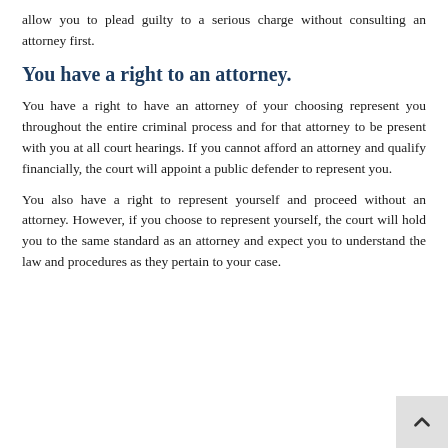allow you to plead guilty to a serious charge without consulting an attorney first.
You have a right to an attorney.
You have a right to have an attorney of your choosing represent you throughout the entire criminal process and for that attorney to be present with you at all court hearings. If you cannot afford an attorney and qualify financially, the court will appoint a public defender to represent you.
You also have a right to represent yourself and proceed without an attorney. However, if you choose to represent yourself, the court will hold you to the same standard as an attorney and expect you to understand the law and procedures as they pertain to your case.